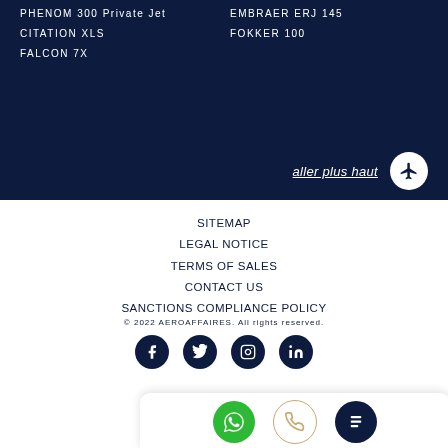PHENOM 300 Private Jet
CITATION XLS
FALCON 7X
EMBRAER ERJ 145
FOKKER 100
aller plus haut
SITEMAP
LEGAL NOTICE
TERMS OF SALES
CONTACT US
SANCTIONS COMPLIANCE POLICY
© 2022 AEROAFFAIRES. All rights reserved.
[Figure (infographic): Social media icons: Facebook, Twitter, Instagram, LinkedIn (dark navy circles). Below: WhatsApp (green circle), phone (outline circle with gold border), document/menu (dark navy circle).]